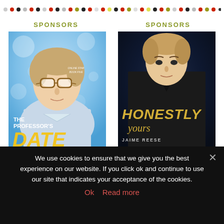[Figure (illustration): Decorative dot row with repeating colored dots (grey, red, black, olive, yellow) across the top of the page]
SPONSORS
SPONSORS
[Figure (illustration): Book cover: The Professor's Date - man with glasses on blue bokeh background, title in white and gold text]
[Figure (illustration): Book cover: Honestly Yours by Jaime Reese - man in dark shirt on dark background, title in gold italic text]
We use cookies to ensure that we give you the best experience on our website. If you click ok and continue to use our site that indicates your acceptance of the cookies.
Ok   Read more